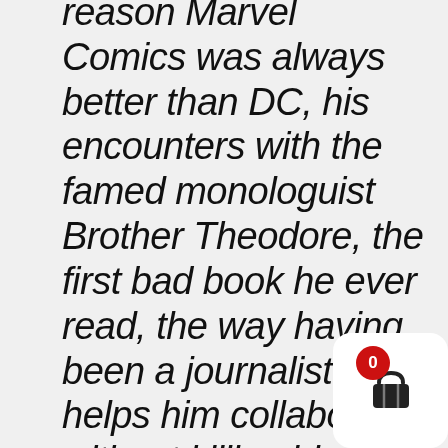reason Marvel Comics was always better than DC, his encounters with the famed monologuist Brother Theodore, the first bad book he ever read, the way having been a journalist helps him collaborate without killing his co-writers, why work for hire assignments can be difficult, how we feel about our refusal to pick a genre lane, and muc